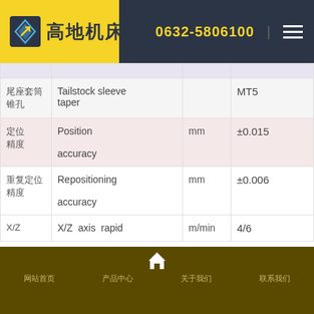高地机床  0632-5806100
| 参数 | English | Unit | Value |
| --- | --- | --- | --- |
|  |  |  |  |
| 尾座套筒锥孔 | Tailstock sleeve taper |  | MT5 |
| 定位精度 | Position accuracy | mm | ±0.015 |
| 重复定位精度 | Repositioning accuracy | mm | ±0.006 |
| X/Z | X/Z axis rapid | m/min | 4/6 |
网站首页  产品中心  关于我们  联系我们